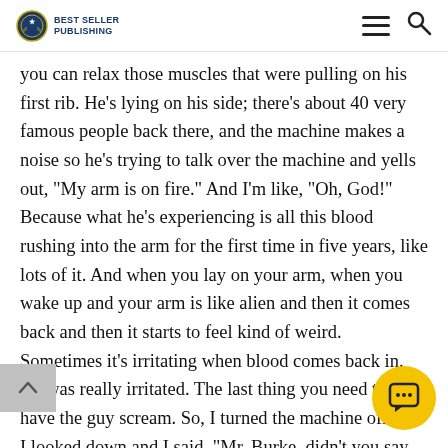Best Seller Publishing
you can relax those muscles that were pulling on his first rib. He’s lying on his side; there’s about 40 very famous people back there, and the machine makes a noise so he’s trying to talk over the machine and yells out, “My arm is on fire.” And I’m like, “Oh, God!” Because what he’s experiencing is all this blood rushing into the arm for the first time in five years, like lots of it. And when you lay on your arm, when you wake up and your arm is like alien and then it comes back and then it starts to feel kind of weird. Sometimes it’s irritating when blood comes back in. He was really irritated. The last thing you need to do is have the guy scream. So, I turned the machine off and I looked down and I said, “Mr. Burke, didn’t you say that you couldn’t do this before?” I said, “Try that.” “Oh m… God, I’ve never done that in three years.” I said, “All right… you want me to continue? Because I’d like to go see Steely